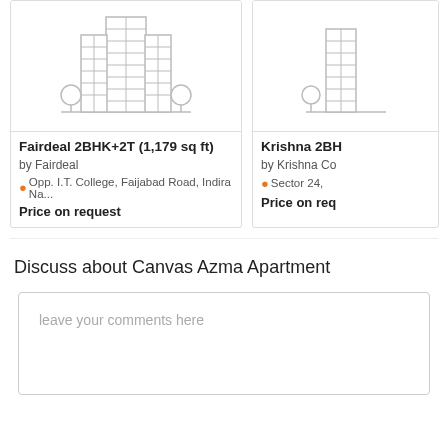[Figure (illustration): Building/apartment block icon in gray outline style, with two trees on either side]
Fairdeal 2BHK+2T (1,179 sq ft)
by Fairdeal
Opp. I.T. College, Faijabad Road, Indira Na...
Price on request
[Figure (illustration): Partial building icon (cropped on right side)]
Krishna 2BH
by Krishna Co
Sector 24,
Price on req
Discuss about Canvas Azma Apartment
leave your comments here